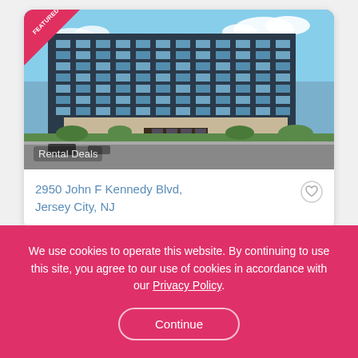[Figure (photo): Modern high-rise office/residential building with glass facade under blue sky, Jersey City NJ. A 'FEATURED' ribbon badge is in the top-left corner of the image. A 'Rental Deals' watermark text appears at the bottom-left of the photo.]
2950 John F Kennedy Blvd, Jersey City, NJ
We use cookies to operate this website. By continuing to use this site, you agree to our use of cookies in accordance with our Privacy Policy.
Continue